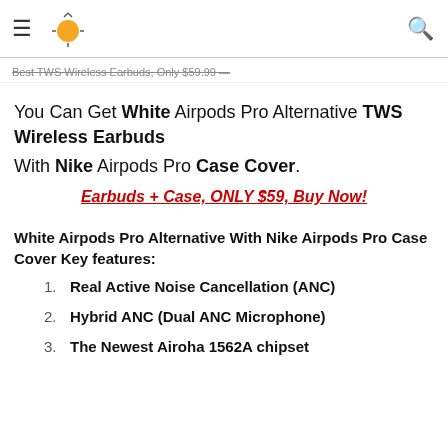≡ [logo] 🔍
Best TWS Wireless Earbuds, Only $59.99 —
You Can Get White Airpods Pro Alternative TWS Wireless Earbuds With Nike Airpods Pro Case Cover.
Earbuds + Case, ONLY $59, Buy Now!
White Airpods Pro Alternative With Nike Airpods Pro Case Cover Key features:
Real Active Noise Cancellation (ANC)
Hybrid ANC (Dual ANC Microphone)
The Newest Airoha 1562A chipset